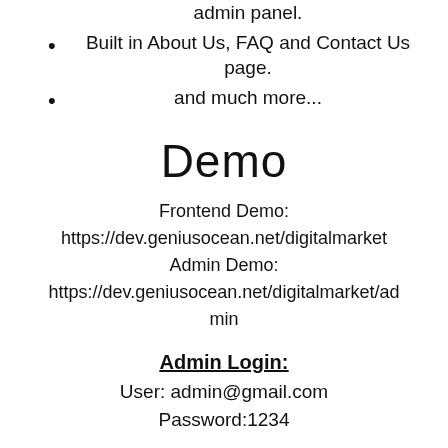admin panel.
Built in About Us, FAQ and Contact Us page.
and much more...
Demo
Frontend Demo:
https://dev.geniusocean.net/digitalmarket
Admin Demo:
https://dev.geniusocean.net/digitalmarket/admin
Admin Login:
User: admin@gmail.com
Password:1234
Author Demo: